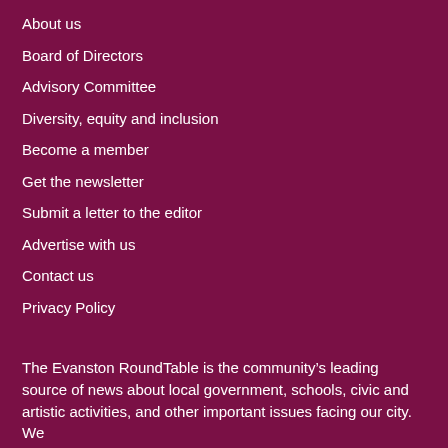About us
Board of Directors
Advisory Committee
Diversity, equity and inclusion
Become a member
Get the newsletter
Submit a letter to the editor
Advertise with us
Contact us
Privacy Policy
The Evanston RoundTable is the community’s leading source of news about local government, schools, civic and artistic activities, and other important issues facing our city. We